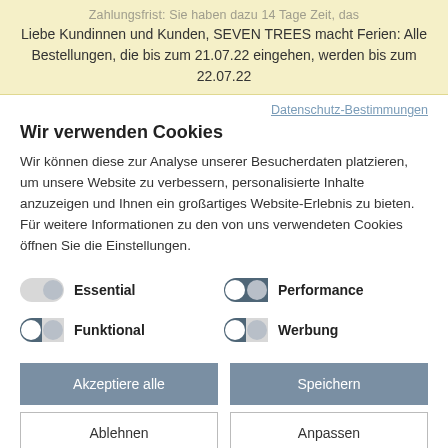Zahlungsfrist: Sie haben dazu 14 Tage Zeit, das...
Liebe Kundinnen und Kunden, SEVEN TREES macht Ferien: Alle Bestellungen, die bis zum 21.07.22 eingehen, werden bis zum 22.07.22
Datenschutz-Bestimmungen
Wir verwenden Cookies
Wir können diese zur Analyse unserer Besucherdaten platzieren, um unsere Website zu verbessern, personalisierte Inhalte anzuzeigen und Ihnen ein großartiges Website-Erlebnis zu bieten. Für weitere Informationen zu den von uns verwendeten Cookies öffnen Sie die Einstellungen.
Essential
Performance
Funktional
Werbung
Akzeptiere alle
Speichern
Ablehnen
Anpassen